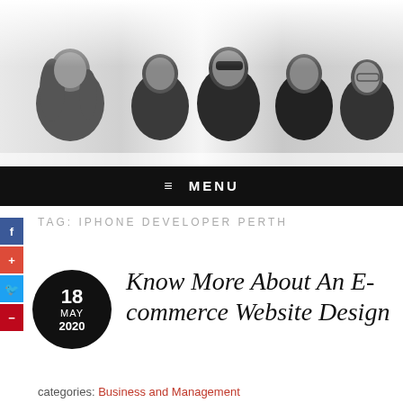[Figure (photo): Black and white group photo of five men against a light background]
≡ MENU
TAG: IPHONE DEVELOPER PERTH
Know More About An E-commerce Website Design
categories: Business and Management